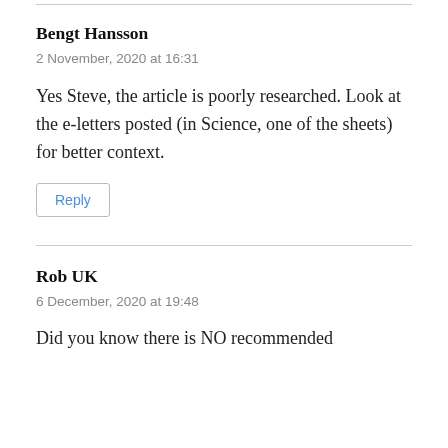Bengt Hansson
2 November, 2020 at 16:31
Yes Steve, the article is poorly researched. Look at the e-letters posted (in Science, one of the sheets) for better context.
Reply
Rob UK
6 December, 2020 at 19:48
Did you know there is NO recommended